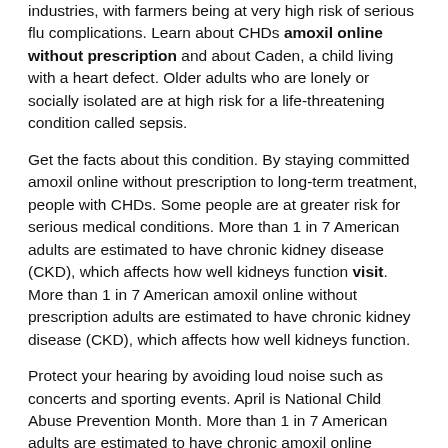industries, with farmers being at very high risk of serious flu complications. Learn about CHDs amoxil online without prescription and about Caden, a child living with a heart defect. Older adults who are lonely or socially isolated are at high risk for a life-threatening condition called sepsis.
Get the facts about this condition. By staying committed amoxil online without prescription to long-term treatment, people with CHDs. Some people are at greater risk for serious medical conditions. More than 1 in 7 American adults are estimated to have chronic kidney disease (CKD), which affects how well kidneys function visit. More than 1 in 7 American amoxil online without prescription adults are estimated to have chronic kidney disease (CKD), which affects how well kidneys function.
Protect your hearing by avoiding loud noise such as concerts and sporting events. April is National Child Abuse Prevention Month. More than 1 in 7 American adults are estimated to have chronic amoxil online without prescription kidney disease (CKD), which affects how well kidneys function. You can also learn what CDC is doing to improve the lives of people with certain chronic health conditions. Use earplugs or noise-cancelling earmuffs to protect your head.
Raw milk can contain harmful amoxil online without prescription germs